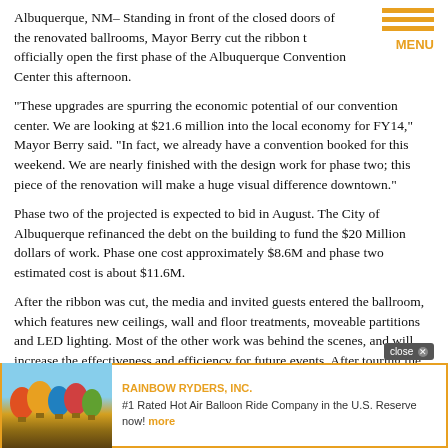Albuquerque, NM– Standing in front of the closed doors of the renovated ballrooms, Mayor Berry cut the ribbon t officially open the first phase of the Albuquerque Convention Center this afternoon.
“These upgrades are spurring the economic potential of our convention center. We are looking at $21.6 million into the local economy for FY14,” Mayor Berry said. “In fact, we already have a convention booked for this weekend. We are nearly finished with the design work for phase two; this piece of the renovation will make a huge visual difference downtown.”
Phase two of the projected is expected to bid in August. The City of Albuquerque refinanced the debt on the building to fund the $20 Million dollars of work. Phase one cost approximately $8.6M and phase two estimated cost is about $11.6M.
After the ribbon was cut, the media and invited guests entered the ballroom, which features new ceilings, wall and floor treatments, moveable partitions and LED lighting. Most of the other work was behind the scenes, and will increase the effectiveness and efficiency for future events. After touring the ballrooms, Mayor Berry led the group on a tour of the new kitchen facilities.
[Figure (infographic): Advertisement for Rainbow Ryders, Inc. with hot air balloon image, orange border, '#1 Rated Hot Air Balloon Ride Company in the U.S. Reserve now!']